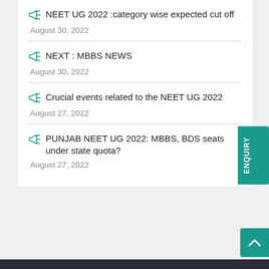NEET UG 2022 :category wise expected cut off
August 30, 2022
NEXT : MBBS NEWS
August 30, 2022
Crucial events related to the NEET UG 2022
August 27, 2022
PUNJAB NEET UG 2022: MBBS, BDS seats under state quota?
August 27, 2022